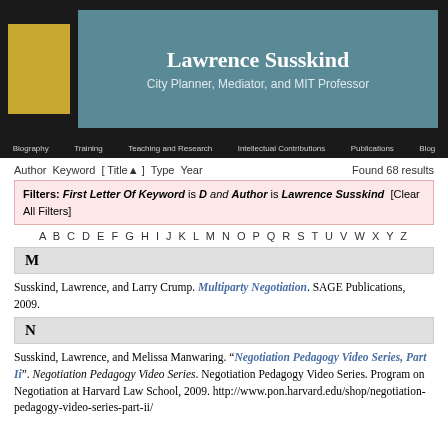Lawrence Susskind
City Planner, Mediator, and MIT Professor
Author Keyword [ Title ] Type Year    Found 68 results
Filters: First Letter Of Keyword is D and Author is Lawrence Susskind  [Clear All Filters]
A B C D E F G H I J K L M N O P Q R S T U V W X Y Z
M
Susskind, Lawrence, and Larry Crump. Multiparty Negotiation. SAGE Publications, 2009.
N
Susskind, Lawrence, and Melissa Manwaring. “Negotiation Pedagogy Video Series, Part Ii”. Negotiation Pedagogy Video Series. Negotiation Pedagogy Video Series. Program on Negotiation at Harvard Law School, 2009. http://www.pon.harvard.edu/shop/negotiation-pedagogy-video-series-part-ii/